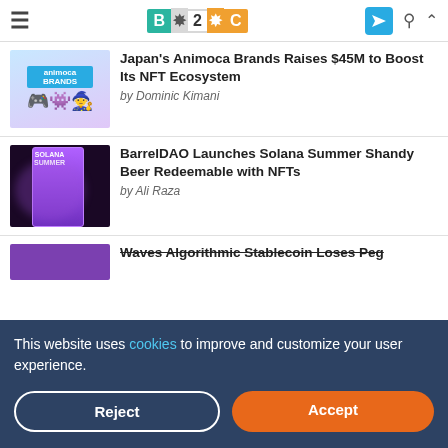B2C website header with logo and navigation icons
Japan's Animoca Brands Raises $45M to Boost Its NFT Ecosystem
by Dominic Kimani
BarrelDAO Launches Solana Summer Shandy Beer Redeemable with NFTs
by Ali Raza
Waves Algorithmic Stablecoin Loses Peg
This website uses cookies to improve and customize your user experience.
Reject
Accept